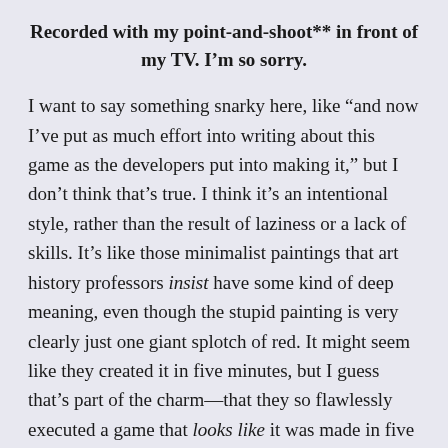Recorded with my point-and-shoot** in front of my TV. I'm so sorry.
I want to say something snarky here, like “and now I’ve put as much effort into writing about this game as the developers put into making it,” but I don’t think that’s true. I think it’s an intentional style, rather than the result of laziness or a lack of skills. It’s like those minimalist paintings that art history professors insist have some kind of deep meaning, even though the stupid painting is very clearly just one giant splotch of red. It might seem like they created it in five minutes, but I guess that’s part of the charm—that they so flawlessly executed a game that looks like it was made in five minutes, but actually has some substance to it, unlike games that were actually made in five minutes.
That’s not a very funny analysis, though, so go back and watch